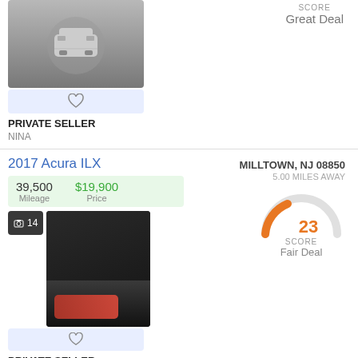[Figure (photo): Car placeholder image with heart favorite button]
PRIVATE SELLER
NINA
SCORE
Great Deal
2017 Acura ILX
| Mileage | Price |
| --- | --- |
| 39,500 | $19,900 |
MILLTOWN, NJ 08850
5.00 MILES AWAY
[Figure (photo): Photo count badge showing 14 and a car photo thumbnail of a red car]
[Figure (infographic): Gauge/speedometer showing score 23, Fair Deal, in orange]
PRIVATE SELLER
CHARISSA
2012 Genesis G70
| Mileage | Price |
| --- | --- |
| 98,200 | $10,000 |
EAST BRUNSWICK, NJ 08816